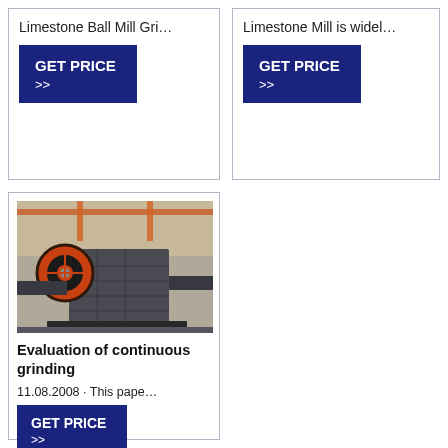Limestone Ball Mill Gri…
GET PRICE >>
Limestone Mill is widel…
GET PRICE >>
[Figure (photo): Industrial jaw crusher machine in a manufacturing facility with orange flywheel]
Evaluation of continuous grinding
11.08.2008 · This pape…
GET PRICE >>